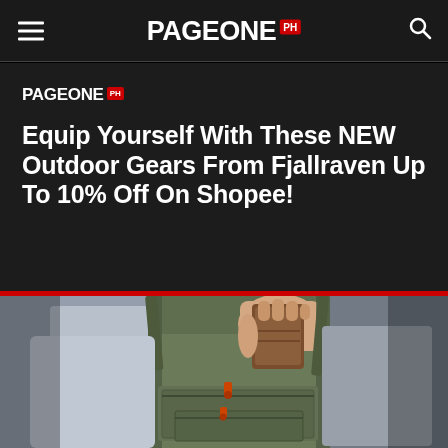PAGEONE PH
[Figure (photo): PageOne PH logo in article header area]
Equip Yourself With These NEW Outdoor Gears From Fjallraven Up To 10% Off On Shopee!
[Figure (photo): Person wearing a green Fjallraven crossbody/sling bag, pulling out a brown wallet from the bag's main compartment. The bag has multiple external pockets with orange accent zipper pulls.]